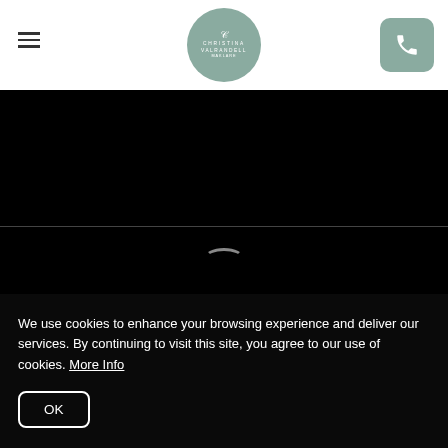[Figure (logo): Christina Valrandell logo circle in sage green with monogram and name]
[Figure (screenshot): Cookie consent banner overlay on a dark/black website background with loading arc indicator]
We use cookies to enhance your browsing experience and deliver our services. By continuing to visit this site, you agree to our use of cookies. More Info
OK